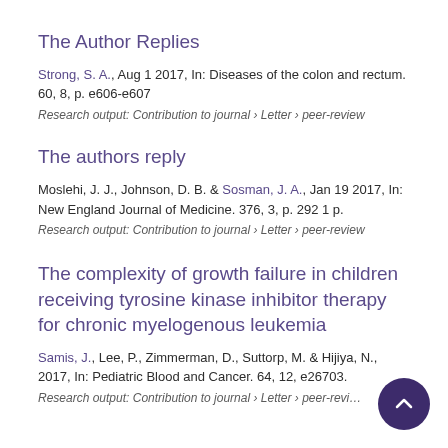The Author Replies
Strong, S. A., Aug 1 2017, In: Diseases of the colon and rectum. 60, 8, p. e606-e607
Research output: Contribution to journal › Letter › peer-review
The authors reply
Moslehi, J. J., Johnson, D. B. & Sosman, J. A., Jan 19 2017, In: New England Journal of Medicine. 376, 3, p. 292 1 p.
Research output: Contribution to journal › Letter › peer-review
The complexity of growth failure in children receiving tyrosine kinase inhibitor therapy for chronic myelogenous leukemia
Samis, J., Lee, P., Zimmerman, D., Suttorp, M. & Hijiya, N., 2017, In: Pediatric Blood and Cancer. 64, 12, e26703.
Research output: Contribution to journal › Letter › peer-review